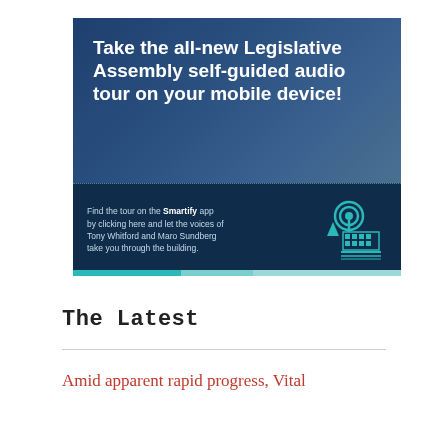[Figure (infographic): Promotional banner for the Legislative Assembly self-guided audio tour on mobile device via the Smartify app, featuring bold white text on a dark blue background with a Legislative Assembly logo and teal accent bars at bottom.]
The Latest
Amid apparent rapid progress, Vital